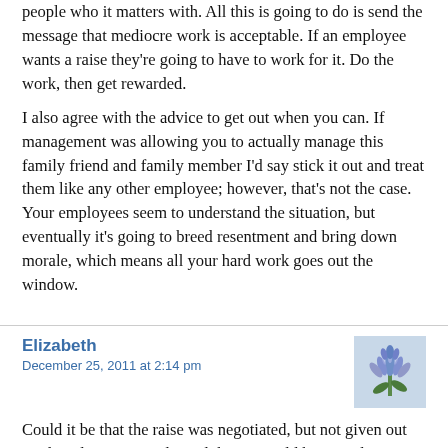people who it matters with. All this is going to do is send the message that mediocre work is acceptable. If an employee wants a raise they're going to have to work for it. Do the work, then get rewarded.
I also agree with the advice to get out when you can. If management was allowing you to actually manage this family friend and family member I'd say stick it out and treat them like any other employee; however, that's not the case. Your employees seem to understand the situation, but eventually it's going to breed resentment and bring down morale, which means all your hard work goes out the window.
Elizabeth
December 25, 2011 at 2:14 pm
[Figure (photo): Small square photo of blue/purple hyacinth flowers]
Could it be that the raise was negotiated, but not given out until quality improved? And the OP could have said something like 'Raises are available now (since they hadn't been getting anything — there was no expectation that better work would be rewarded) but only to those whose performance improves.'